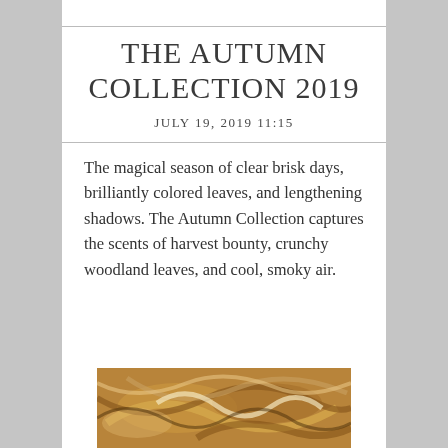THE AUTUMN COLLECTION 2019
JULY 19, 2019 11:15
The magical season of clear brisk days, brilliantly colored leaves, and lengthening shadows. The Autumn Collection captures the scents of harvest bounty, crunchy woodland leaves, and cool, smoky air.
[Figure (photo): Close-up photo of swirled autumn-colored soap bars in brown/tan/cream tones]